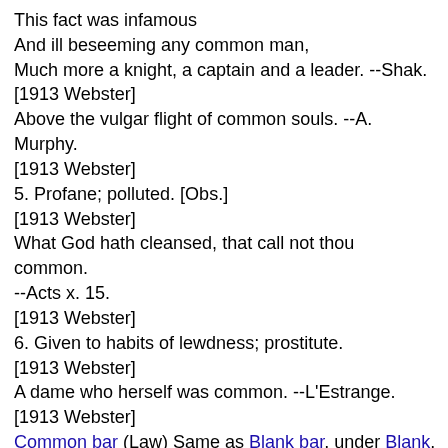This fact was infamous
And ill beseeming any common man,
Much more a knight, a captain and a leader. --Shak.
[1913 Webster]
Above the vulgar flight of common souls. --A. Murphy.
[1913 Webster]
5. Profane; polluted. [Obs.]
[1913 Webster]
What God hath cleansed, that call not thou common.
--Acts x. 15.
[1913 Webster]
6. Given to habits of lewdness; prostitute.
[1913 Webster]
A dame who herself was common. --L'Estrange.
[1913 Webster]
Common bar (Law) Same as Blank bar, under Blank.
Common barrator (Law), one who makes a business of...